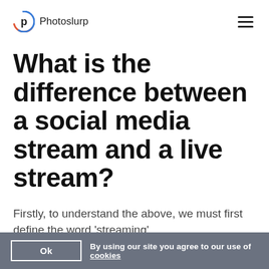Photoslurp
What is the difference between a social media stream and a live stream?
Firstly, to understand the above, we must first define the word 'streaming'.
Ok  By using our site you agree to our use of cookies